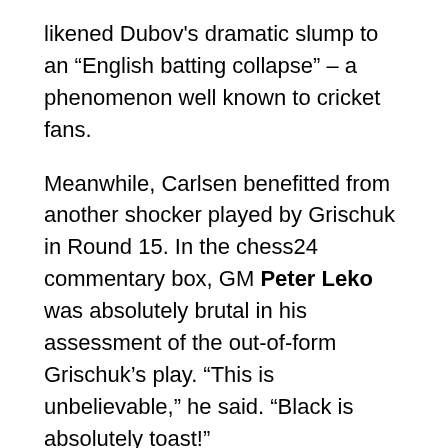likened Dubov's dramatic slump to an “English batting collapse” – a phenomenon well known to cricket fans.
Meanwhile, Carlsen benefitted from another shocker played by Grischuk in Round 15. In the chess24 commentary box, GM Peter Leko was absolutely brutal in his assessment of the out-of-form Grischuk’s play. “This is unbelievable,” he said. “Black is absolutely toast!”
Carlsen was cruising ahead on 10/15 while Dubov fell back to second on 9/15. Yet in Round 17, Dubov had one last chance to get back in it as he faced the tournament leader. Dubov had to win and win again in Round 18, while Carlsen had to lose both, which was highly unlikely. Carlsen duly closed out the draw to secure the title with a round to spare.
The champion was downbeat in his interview after the match